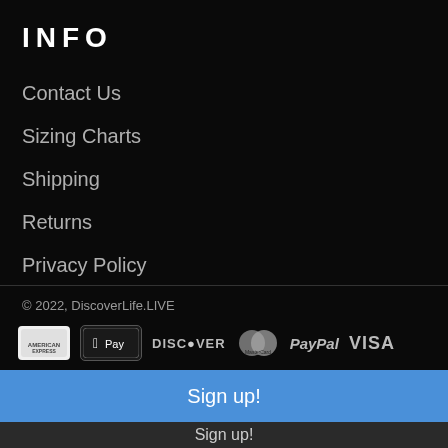INFO
Contact Us
Sizing Charts
Shipping
Returns
Privacy Policy
Terms and Conditions
© 2022, DiscoverLife.LIVE
[Figure (logo): Payment method icons: American Express, Apple Pay, Discover, MasterCard, PayPal, Visa]
Sign up!
Sign up!